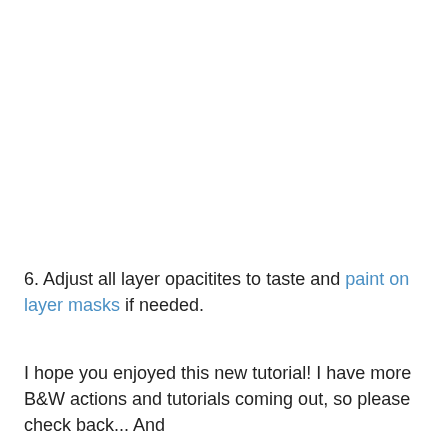6. Adjust all layer opacitites to taste and paint on layer masks if needed.
I hope you enjoyed this new tutorial! I have more B&W actions and tutorials coming out, so please check back... And